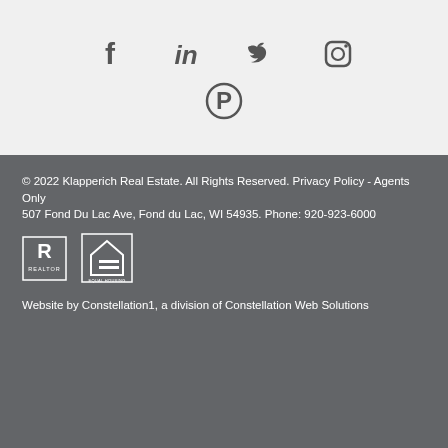[Figure (illustration): Social media icons: Facebook, LinkedIn, Twitter, Instagram, Pinterest on light grey background]
© 2022 Klapperich Real Estate. All Rights Reserved. Privacy Policy - Agents Only
507 Fond Du Lac Ave, Fond du Lac, WI 54935. Phone: 920-923-6000
[Figure (logo): Realtor logo and Equal Housing Opportunity logo on dark grey background]
Website by Constellation1, a division of Constellation Web Solutions